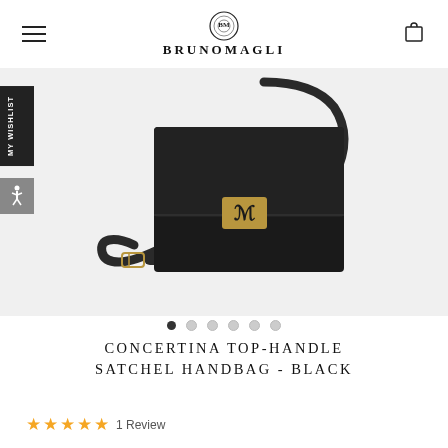BRUNOMAGLI
[Figure (photo): Black leather Concertina Top-Handle Satchel Handbag by Bruno Magli with gold BM logo clasp and crossbody strap on light grey background]
CONCERTINA TOP-HANDLE SATCHEL HANDBAG - BLACK
★★★★★ 1 Review